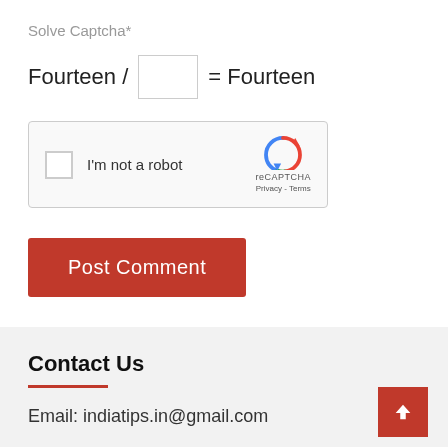Solve Captcha*
Fourteen / [input box] = Fourteen
[Figure (other): reCAPTCHA widget with checkbox labeled 'I'm not a robot' and reCAPTCHA logo with Privacy - Terms links]
Post Comment
Contact Us
Email: indiatips.in@gmail.com